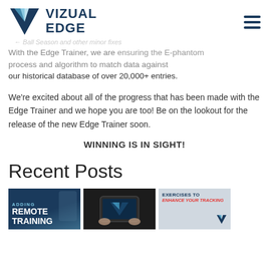VIZUAL EDGE
Ball Season and other minor fixes
With the Edge Trainer, we are using the E-phantom process and algorithm to match data against our historical database of over 20,000+ entries.
We're excited about all of the progress that has been made with the Edge Trainer and we hope you are too! Be on the lookout for the release of the new Edge Trainer soon.
WINNING IS IN SIGHT!
Recent Posts
[Figure (photo): Thumbnail image labeled 'ADDING REMOTE TRAINING' with dark blue background and person]
[Figure (photo): Thumbnail of hands holding tablet with Vizual Edge app]
[Figure (photo): Thumbnail labeled 'EXERCISES TO ENHANCE YOUR TRACKING' with Vizual Edge logo]